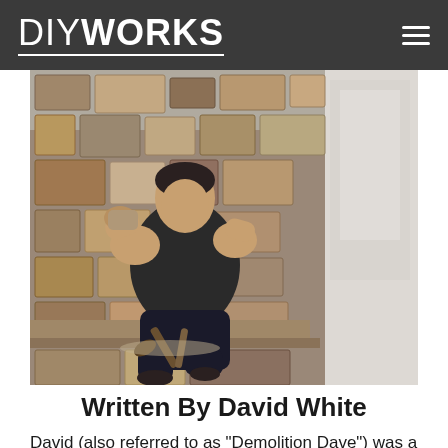DIY WORKS
[Figure (photo): A man sitting inside a hole in a stone brick wall, working on demolition. He is wearing a dark t-shirt and shorts, holding a tool. Exposed stone and brick visible around him.]
Written By David White
David (also referred to as "Demolition Dave") was a builder by trade for over 10 years but since joining DIY